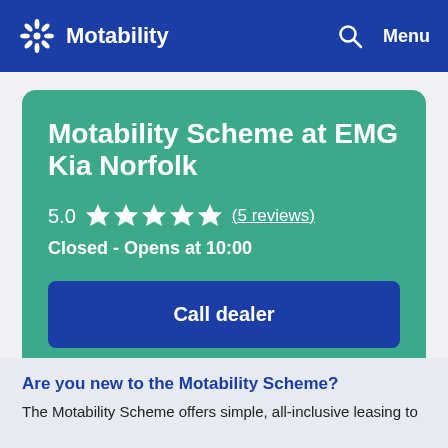Motability
Motability Scheme at EMG Kia Norfolk
5.0 ★★★★★ (5 reviews)
Closed - Opens at 10:00
Call dealer
Are you new to the Motability Scheme?
The Motability Scheme offers simple, all-inclusive leasing to